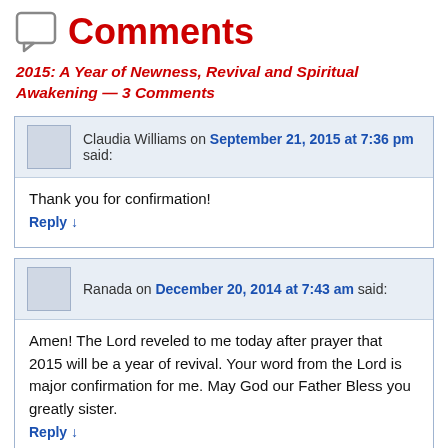Comments
2015: A Year of Newness, Revival and Spiritual Awakening — 3 Comments
Claudia Williams on September 21, 2015 at 7:36 pm said:
Thank you for confirmation!
Reply ↓
Ranada on December 20, 2014 at 7:43 am said:
Amen! The Lord reveled to me today after prayer that 2015 will be a year of revival. Your word from the Lord is major confirmation for me. May God our Father Bless you greatly sister.
Reply ↓
Alice on December 14, 2014 at 7:37 am said: